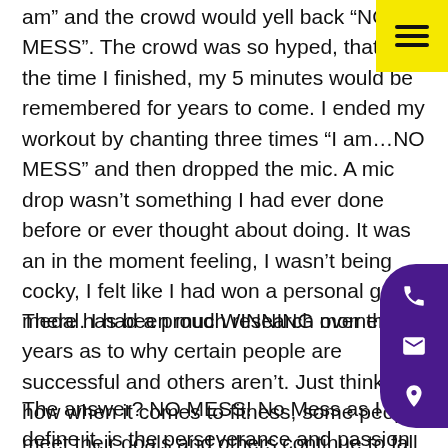am" and the crowd would yell back "NO MESS". The crowd was so hyped, that by the time I finished, my 5 minutes would be remembered for years to come. I ended my workout by chanting three times "I am…NO MESS" and then dropped the mic. A mic drop wasn't something I had ever done before or ever thought about doing. It was an in the moment feeling, I wasn't being cocky, I felt like I had won a personal gold medal. I had a proud WINNING moment!
There has been much research over the years as to why certain people are successful and others aren't. Just think how when it comes to fitness, some people meet their goals and others continue to fall short.
The answer? NO MESS! No Mess as I define it, is the perseverance and passion to accomplish long-term